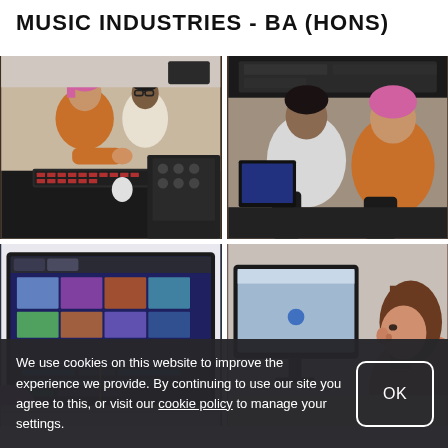MUSIC INDUSTRIES - BA (HONS)
[Figure (photo): Two students working at a music production desk with keyboard and mixing equipment, one with pink hair.]
[Figure (photo): Students seen from behind working at a workstation with audio/video equipment.]
[Figure (photo): Close-up of a computer screen showing video editing software with a colorful timeline.]
[Figure (photo): A student with brown hair looking at a monitor displaying a blue screen.]
We use cookies on this website to improve the experience we provide. By continuing to use our site you agree to this, or visit our cookie policy to manage your settings.